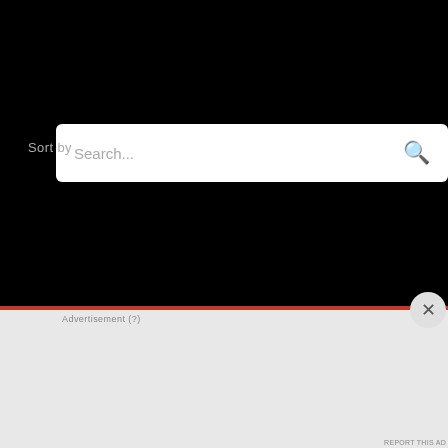[Figure (screenshot): Search interface with black background, white search bar with 'Search...' placeholder and magnifying glass icon]
Sort by
[Figure (screenshot): Sort by dropdown showing 'Relevance' with chevron icon]
[Figure (infographic): DuckDuckGo advertisement banner: 'Search, browse, and email with more privacy. All in One Free App' with phone graphic showing DuckDuckGo logo]